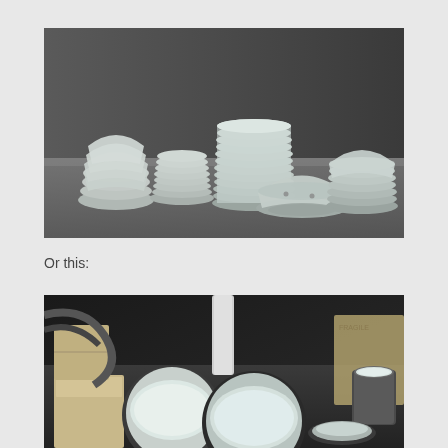[Figure (photo): A collection of ceramic bowls, plates, and dishes stacked in groups on a gray surface against a dark gray background. The ceramics are glazed in muted blue-gray and white tones.]
Or this:
[Figure (photo): A workshop or studio setting with ceramic bowls and vessels arranged on a dark table surface, with various equipment and boxes visible in the background.]